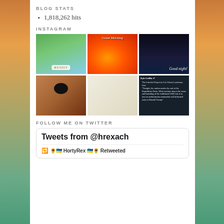BLOG STATS
1,818,262 hits
INSTAGRAM
[Figure (photo): Instagram photo grid with 6 images: mug with RESIST text, tropical flowers Good Morning image with Puerto Rico flag, nighttime Puerto Rico flag Good night image, black cat on red cushion, Statue of Liberty illustration, Twitter screenshot about Lincoln Project and Liz Cheney]
FOLLOW ME ON TWITTER
Tweets from @hrexach
🌻🇺🇦 HortyRex 🇺🇦🌻 Retweeted